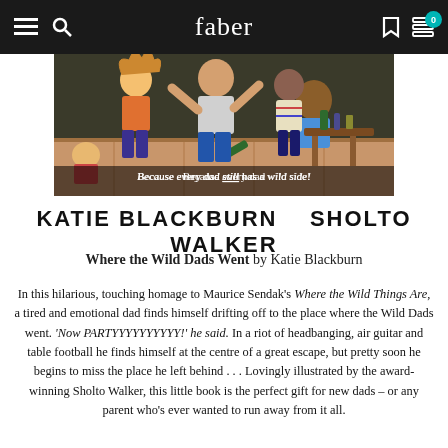faber
[Figure (illustration): Book cover illustration for 'Where the Wild Dads Went' showing cartoon figures of adults partying in a pub-like setting with the text 'Because every dad still has a wild side!' overlaid at the bottom. Authors listed as KATIE BLACKBURN and SHOLTO WALKER.]
Where the Wild Dads Went by Katie Blackburn
In this hilarious, touching homage to Maurice Sendak's Where the Wild Things Are, a tired and emotional dad finds himself drifting off to the place where the Wild Dads went. 'Now PARTYYYYYYYYYY!' he said. In a riot of headbanging, air guitar and table football he finds himself at the centre of a great escape, but pretty soon he begins to miss the place he left behind . . . Lovingly illustrated by the award-winning Sholto Walker, this little book is the perfect gift for new dads – or any parent who's ever wanted to run away from it all.